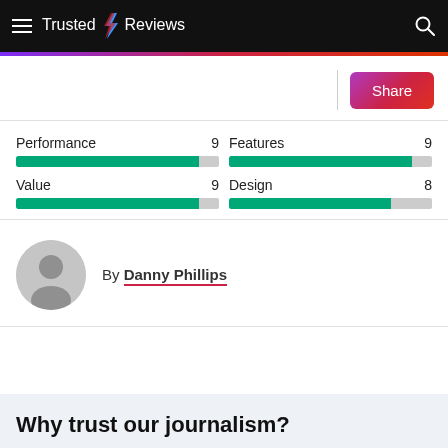Trusted Reviews
[Figure (bar-chart): Review Scores]
By Danny Phillips
Why trust our journalism?